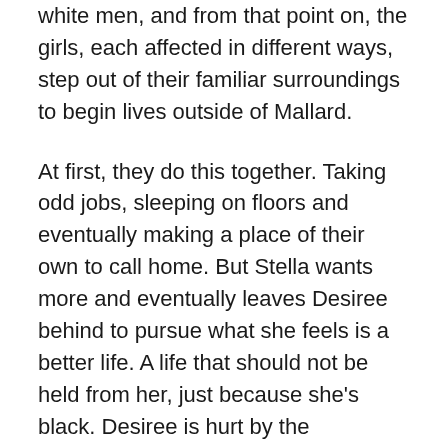white men, and from that point on, the girls, each affected in different ways, step out of their familiar surroundings to begin lives outside of Mallard.
At first, they do this together. Taking odd jobs, sleeping on floors and eventually making a place of their own to call home. But Stella wants more and eventually leaves Desiree behind to pursue what she feels is a better life. A life that should not be held from her, just because she's black. Desiree is hurt by the abandonment but at the time, doesn't fully understand Stella's choices. All she wants throughout the years is to find her sister once again.
This story is told in several parts and jumps into the present day as we meet Jude and Kennedy, the children of Desiree and Stella. We also meet their significant others and as readers, we are brought into Stella's world as she